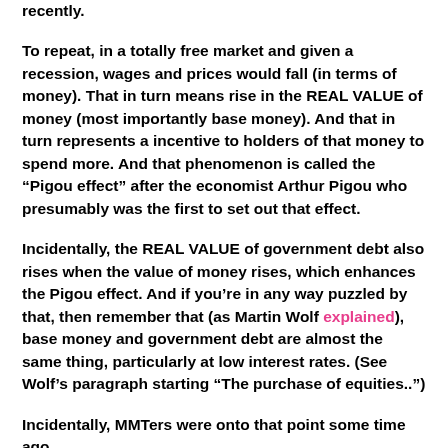recently.
To repeat, in a totally free market and given a recession, wages and prices would fall (in terms of money). That in turn means rise in the REAL VALUE of money (most importantly base money). And that in turn represents a incentive to holders of that money to spend more. And that phenomenon is called the “Pigou effect” after the economist Arthur Pigou who presumably was the first to set out that effect.
Incidentally, the REAL VALUE of government debt also rises when the value of money rises, which enhances the Pigou effect. And if you’re in any way puzzled by that, then remember that (as Martin Wolf explained), base money and government debt are almost the same thing, particularly at low interest rates. (See Wolf’s paragraph starting “The purchase of equities..”)
Incidentally, MMTers were onto that point some time ago